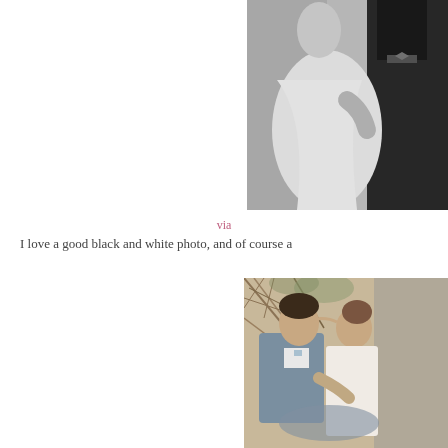[Figure (photo): Black and white photo of a couple, woman in white dress and man in dark suit with bow tie, partially cropped, upper portion visible]
via
I love a good black and white photo, and of course a
[Figure (photo): Color photo of a couple sitting together outdoors, man in grey suit and woman in light dress, surrounded by dried branches]